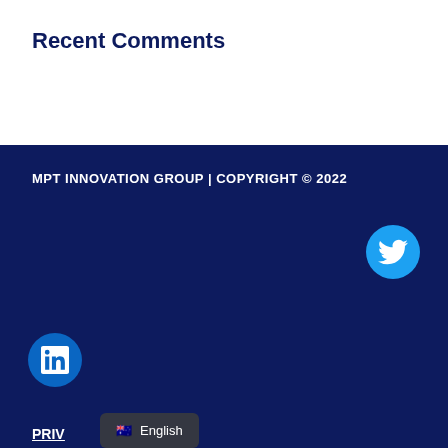Recent Comments
MPT INNOVATION GROUP | COPYRIGHT © 2022
[Figure (logo): Twitter social media button — cyan circle with white Twitter bird icon]
[Figure (logo): LinkedIn social media button — blue circle with white LinkedIn 'in' icon]
PRIV
[Figure (other): Language selector pill showing Australian flag emoji and 'English' text on dark background]